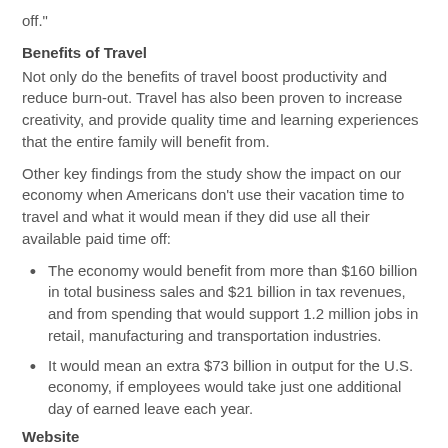off."
Benefits of Travel
Not only do the benefits of travel boost productivity and reduce burn-out. Travel has also been proven to increase creativity, and provide quality time and learning experiences that the entire family will benefit from.
Other key findings from the study show the impact on our economy when Americans don’t use their vacation time to travel and what it would mean if they did use all their available paid time off:
The economy would benefit from more than $160 billion in total business sales and $21 billion in tax revenues, and from spending that would support 1.2 million jobs in retail, manufacturing and transportation industries.
It would mean an extra $73 billion in output for the U.S. economy, if employees would take just one additional day of earned leave each year.
Website